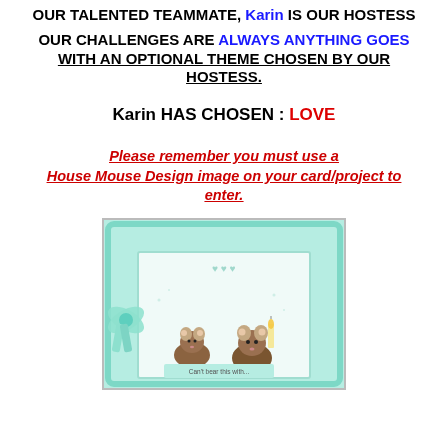OUR TALENTED TEAMMATE, Karin IS OUR HOSTESS
OUR CHALLENGES ARE ALWAYS ANYTHING GOES WITH AN OPTIONAL THEME CHOSEN BY OUR HOSTESS.
Karin HAS CHOSEN : LOVE
Please remember you must use a House Mouse Design image on your card/project to enter.
[Figure (photo): A handmade card featuring House Mouse Design characters (two mice) on a mint/teal embossed background with a decorative ribbon bow, small hearts, and a candle stamp image.]